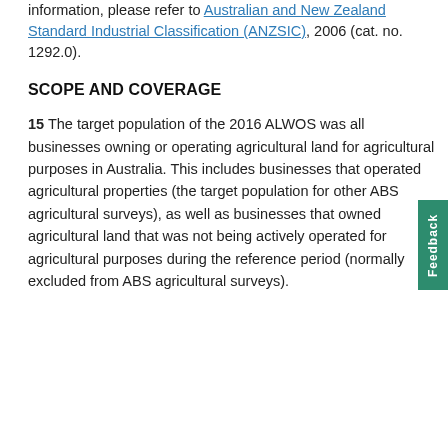information, please refer to Australian and New Zealand Standard Industrial Classification (ANZSIC), 2006 (cat. no. 1292.0).
SCOPE AND COVERAGE
15 The target population of the 2016 ALWOS was all businesses owning or operating agricultural land for agricultural purposes in Australia. This includes businesses that operated agricultural properties (the target population for other ABS agricultural surveys), as well as businesses that owned agricultural land that was not being actively operated for agricultural purposes during the reference period (normally excluded from ABS agricultural surveys).